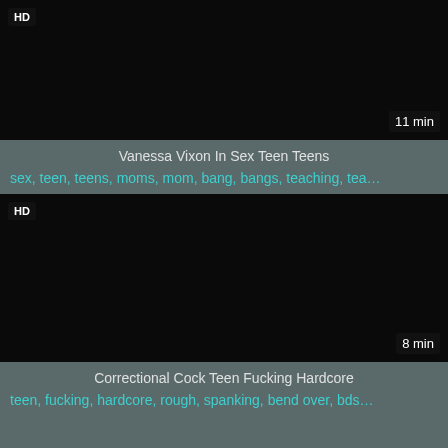[Figure (screenshot): Video thumbnail - black screen with HD badge and 11 min duration]
Vanessa Vixon In Sex Teen Teens
sex, teen, teens, moms, mom, bang, bangs, teaching, tea...
[Figure (screenshot): Video thumbnail - black screen with HD badge and 8 min duration]
Correctional Cock Teen Fucking Hardcore
teen, fucking, hardcore, rough, spanking, bend over, bds...